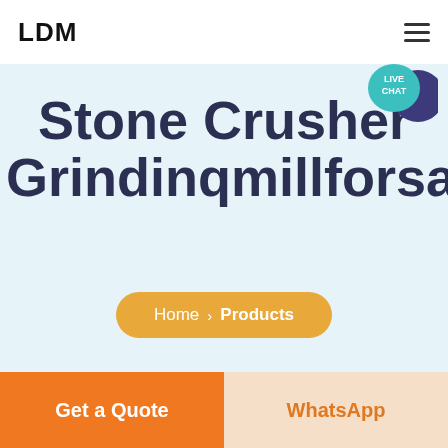LDM
[Figure (other): Live chat bubble icon with teal speech bubble labeled LIVE CHAT and dark purple circle behind it]
Stone Crusher Grindinqmillforsale
Home > Products
Get a Quote
WhatsApp